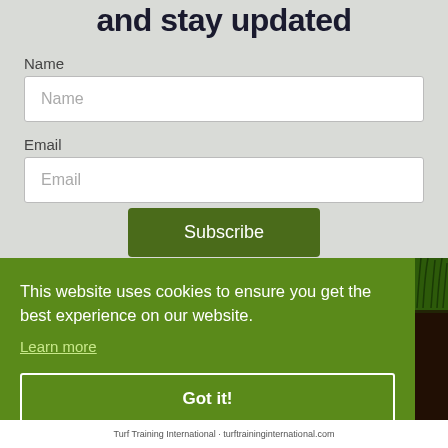and stay updated
Name
Email
Subscribe
This website uses cookies to ensure you get the best experience on our website.
Learn more
Got it!
Turf Training International - turftraininginternational.com